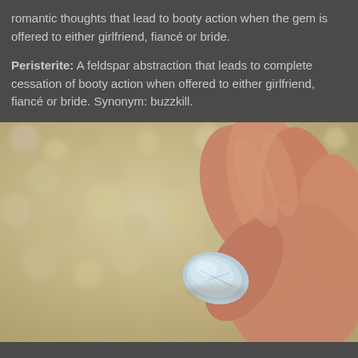romantic thoughts that lead to booty action when the gem is offered to either girlfriend, fiancé or bride.
Peristerite: A feldspar abstraction that leads to complete cessation of booty action when offered to either girlfriend, fiancé or bride. Synonym: buzzkill.
[Figure (photo): A hand holding a light blue/white peristerite (feldspar) stone against a blurred gravel/sand background.]